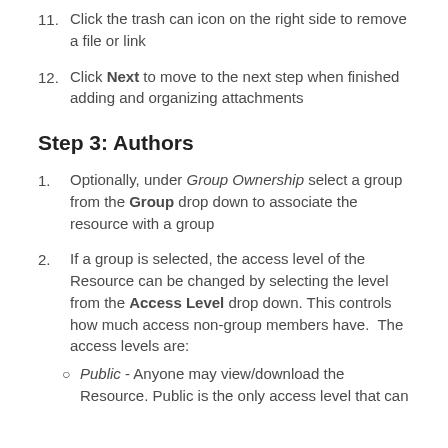11. Click the trash can icon on the right side to remove a file or link
12. Click Next to move to the next step when finished adding and organizing attachments
Step 3: Authors
1. Optionally, under Group Ownership select a group from the Group drop down to associate the resource with a group
2. If a group is selected, the access level of the Resource can be changed by selecting the level from the Access Level drop down. This controls how much access non-group members have. The access levels are:
Public - Anyone may view/download the Resource. Public is the only access level that can